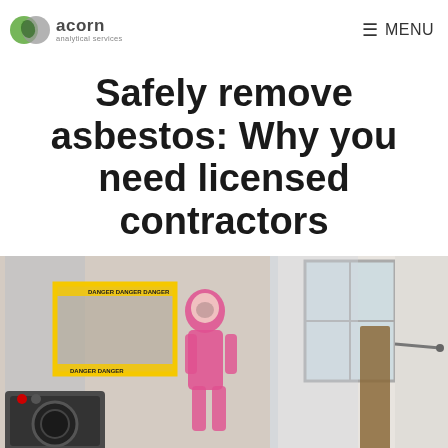acorn analytical services | MENU
Safely remove asbestos: Why you need licensed contractors
[Figure (photo): Photo of an indoor room undergoing asbestos removal. A person in a pink protective suit is visible near yellow caution tape marking a hazard area. Plastic sheeting covers the walls and doorway. A washing machine is visible in the foreground.]